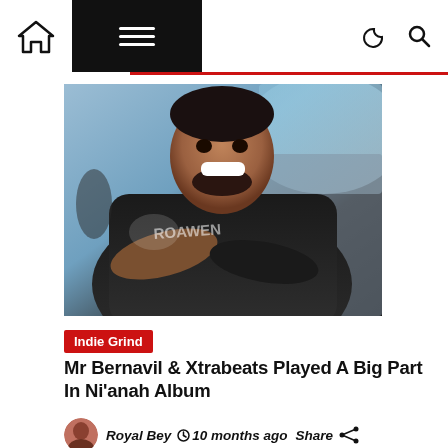Navigation bar with home icon, menu, dark mode toggle, and search icon
[Figure (photo): Photo of a smiling man with a beard wearing a black jacket with arms crossed, standing in front of a pool/water area background]
Indie Grind
Mr Bernavil & Xtrabeats Played A Big Part In Ni'anah Album
Royal Bey  10 months ago  Share